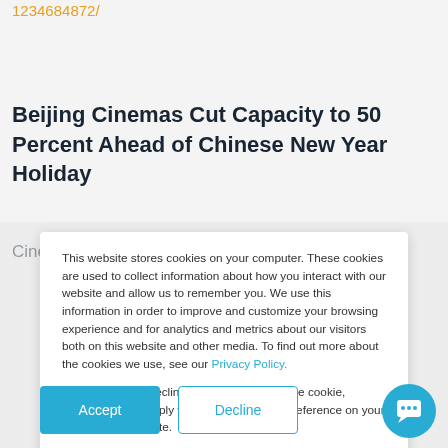1234684872/
Beijing Cinemas Cut Capacity to 50 Percent Ahead of Chinese New Year Holiday
Cinemas in Beijing were ordered Thursday to limit
This website stores cookies on your computer. These cookies are used to collect information about how you interact with our website and allow us to remember you. We use this information in order to improve and customize your browsing experience and for analytics and metrics about our visitors both on this website and other media. To find out more about the cookies we use, see our Privacy Policy.

If you choose to decline, we will only store one cookie, allowing us to comply with your expressed preference on your next visits to our site.
Accept
Decline